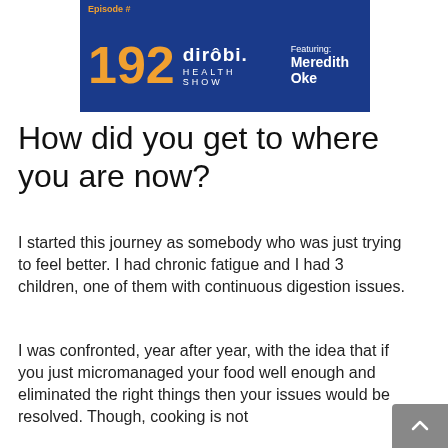[Figure (screenshot): Podcast episode banner for Dirobi Health Show Episode 192, featuring Meredith Oke. Blue background with orange episode number, white text for brand name and guest.]
How did you get to where you are now?
I started this journey as somebody who was just trying to feel better. I had chronic fatigue and I had 3 children, one of them with continuous digestion issues.
I was confronted, year after year, with the idea that if you just micromanaged your food well enough and eliminated the right things then your issues would be resolved. Though, cooking is not